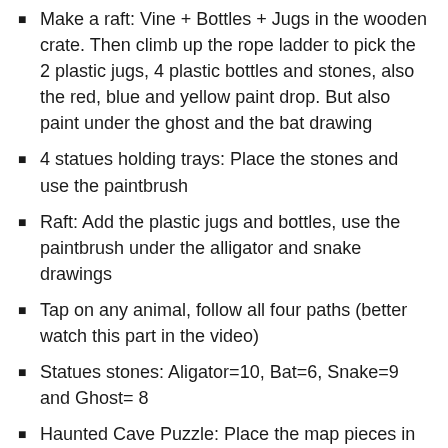Make a raft: Vine + Bottles + Jugs in the wooden crate. Then climb up the rope ladder to pick the 2 plastic jugs, 4 plastic bottles and stones, also the red, blue and yellow paint drop. But also paint under the ghost and the bat drawing
4 statues holding trays: Place the stones and use the paintbrush
Raft: Add the plastic jugs and bottles, use the paintbrush under the alligator and snake drawings
Tap on any animal, follow all four paths (better watch this part in the video)
Statues stones: Aligator=10, Bat=6, Snake=9 and Ghost= 8
Haunted Cave Puzzle: Place the map pieces in order and use the paintbrush, pick the bone and fish the ladder with it